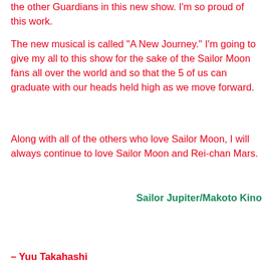the other Guardians in this new show. I'm so proud of this work.
The new musical is called "A New Journey." I'm going to give my all to this show for the sake of the Sailor Moon fans all over the world and so that the 5 of us can graduate with our heads held high as we move forward.
Along with all of the others who love Sailor Moon, I will always continue to love Sailor Moon and Rei-chan Mars.
Sailor Jupiter/Makoto Kino
– Yuu Takahashi